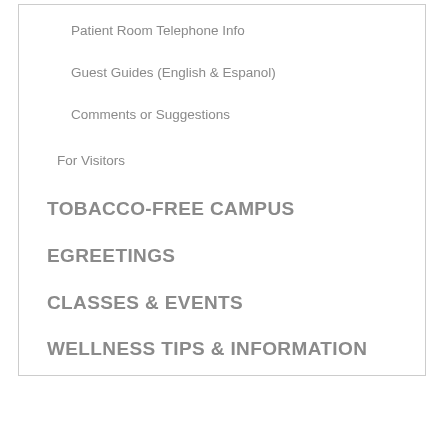Patient Room Telephone Info
Guest Guides (English & Espanol)
Comments or Suggestions
For Visitors
TOBACCO-FREE CAMPUS
EGREETINGS
CLASSES & EVENTS
WELLNESS TIPS & INFORMATION